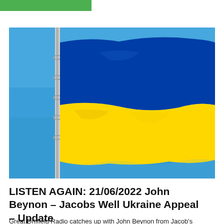[Figure (photo): Ukrainian flag waving on a flagpole against a clear blue sky. The flag has two horizontal bands: blue on top and yellow on the bottom.]
LISTEN AGAIN: 21/06/2022 John Beynon – Jacobs Well Ukraine Appeal – Update
Great Driffield Radio catches up with John Beynon from Jacob's